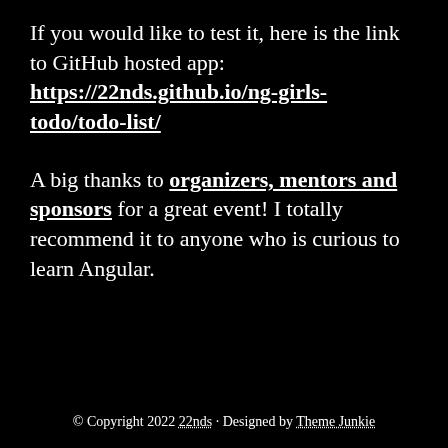If you would like to test it, here is the link to GitHub hosted app: https://22nds.github.io/ng-girls-todo/todo-list/
A big thanks to organizers, mentors and sponsors for a great event! I totally recommend it to anyone who is curious to learn Angular.
© Copyright 2022 22nds · Designed by Theme Junkie